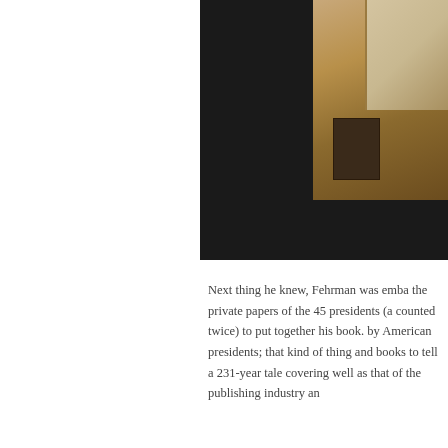[Figure (photo): A photo of a desk with office items, displayed inside a dark-framed tablet or monitor. The right portion shows a wooden desk surface with what appears to be a book or device and a glass object. The left portion of the image is black/dark.]
Next thing he knew, Fehrman was emba the private papers of the 45 presidents (a counted twice) to put together his book. by American presidents; that kind of thing and books to tell a 231-year tale covering well as that of the publishing industry and